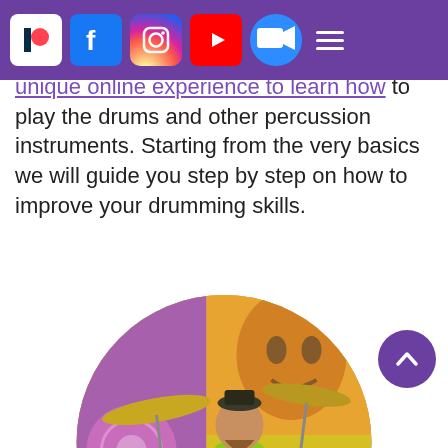Navigation bar with Patreon, Facebook, Instagram, YouTube, Zoom icons and hamburger menu
unique online experience to learn how to play the drums and other percussion instruments. Starting from the very basics we will guide you step by step on how to improve your drumming skills.
[Figure (photo): Circular cropped photo of a bearded male drummer playing a drum kit on stage, wearing a colorful jacket, with a vibrant pop-art style background featuring faces and bright colors (yellow, purple, pink). A Ludwig bass drum is visible in the foreground.]